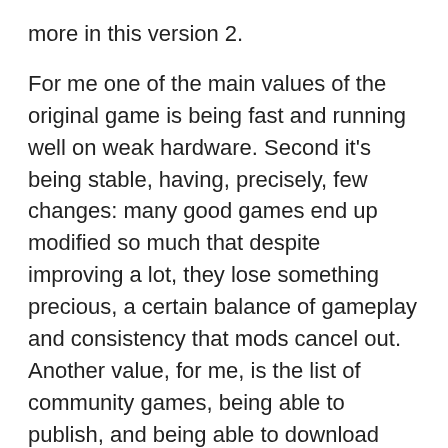more in this version 2.
For me one of the main values of the original game is being fast and running well on weak hardware. Second it's being stable, having, precisely, few changes: many good games end up modified so much that despite improving a lot, they lose something precious, a certain balance of gameplay and consistency that mods cancel out. Another value, for me, is the list of community games, being able to publish, and being able to download worlds.
However it lacks a search by mode (cruel, creative, etc.) type or name yet.
Finally, I find the survival mode especially